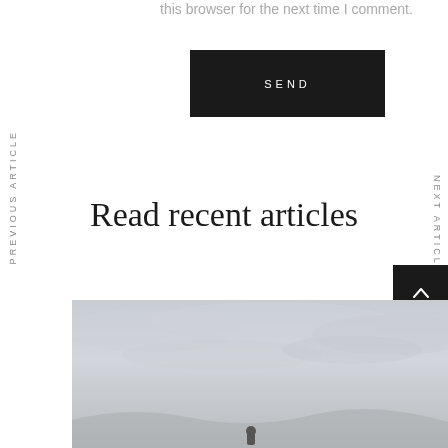this browser for the next time I comment.
SEND
PREVIOUS ARTICLE
Read recent articles
NEXT ARTICLE
[Figure (photo): Outdoor scene with grey overcast sky and a figure visible at the bottom of the frame]